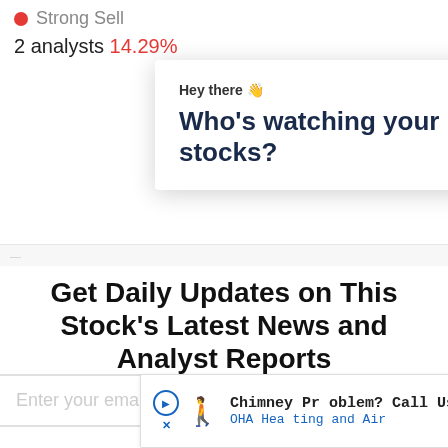● Strong Sell
2 analysts 14.29%
[Figure (screenshot): Modal popup overlay with 'Hey there 👋' heading and bold title 'Who's watching your stocks?' with a close X button]
Get Daily Updates on This Stock's Latest News and Analyst Reports
Receive WallStreetZen's free watchlist emails.
Enter your email here...
[Figure (screenshot): Advertisement banner: 'Chimney Problem? Call Us Now' / 'OHA Heating and Air' with person icon, play button, and blue navigation icon]